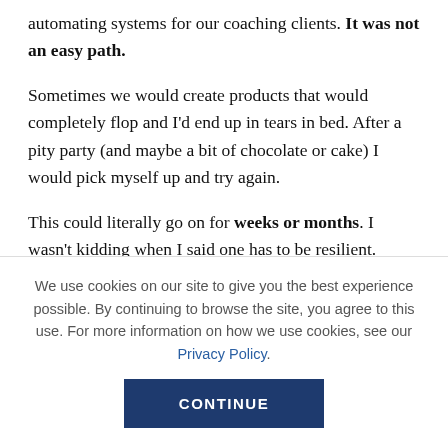automating systems for our coaching clients. It was not an easy path.
Sometimes we would create products that would completely flop and I'd end up in tears in bed. After a pity party (and maybe a bit of chocolate or cake) I would pick myself up and try again.
This could literally go on for weeks or months. I wasn't kidding when I said one has to be resilient.
We use cookies on our site to give you the best experience possible. By continuing to browse the site, you agree to this use. For more information on how we use cookies, see our Privacy Policy.
CONTINUE